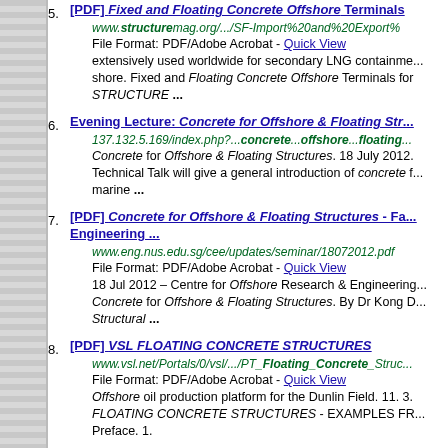5. [PDF] Fixed and Floating Concrete Offshore Terminals
www.structuremag.org/.../SF-Import%20and%20Export%...
File Format: PDF/Adobe Acrobat - Quick View
extensively used worldwide for secondary LNG containme... shore. Fixed and Floating Concrete Offshore Terminals for STRUCTURE ...
6. Evening Lecture: Concrete for Offshore & Floating Str...
137.132.5.169/index.php?...concrete...offshore...floating...
Concrete for Offshore & Floating Structures. 18 July 2012. Technical Talk will give a general introduction of concrete f... marine ...
7. [PDF] Concrete for Offshore & Floating Structures - Fa... Engineering ...
www.eng.nus.edu.sg/cee/updates/seminar/18072012.pdf
File Format: PDF/Adobe Acrobat - Quick View
18 Jul 2012 – Centre for Offshore Research & Engineering... Concrete for Offshore & Floating Structures. By Dr Kong D... Structural ...
8. [PDF] VSL FLOATING CONCRETE STRUCTURES
www.vsl.net/Portals/0/vsl.../PT_Floating_Concrete_Struc...
File Format: PDF/Adobe Acrobat - Quick View
Offshore oil production platform for the Dunlin Field. 11. 3. FLOATING CONCRETE STRUCTURES - EXAMPLES FR... Preface. 1.